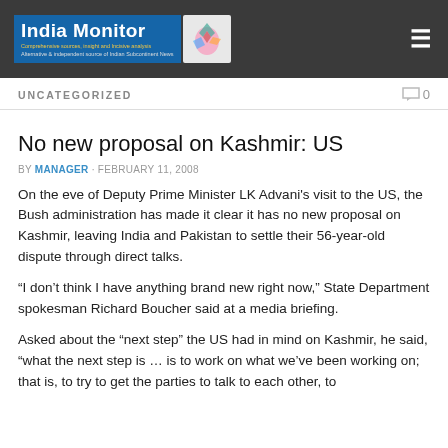India Monitor — Alternative & independent source of Indian Subcontinent News
UNCATEGORIZED   0
No new proposal on Kashmir: US
BY MANAGER · FEBRUARY 11, 2008
On the eve of Deputy Prime Minister LK Advani's visit to the US, the Bush administration has made it clear it has no new proposal on Kashmir, leaving India and Pakistan to settle their 56-year-old dispute through direct talks.
“I don’t think I have anything brand new right now,” State Department spokesman Richard Boucher said at a media briefing.
Asked about the “next step” the US had in mind on Kashmir, he said, “what the next step is … is to work on what we’ve been working on; that is, to try to get the parties to talk to each other, to